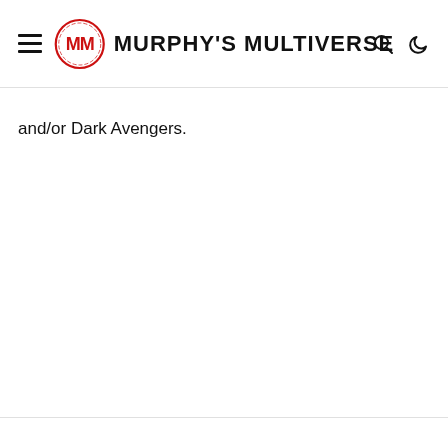Murphy's Multiverse
and/or Dark Avengers.